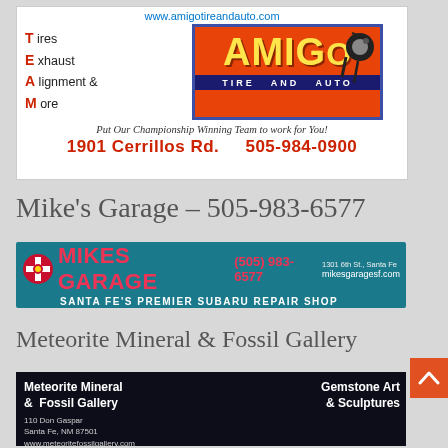[Figure (illustration): Amigo Tire and Auto advertisement with orange/blue logo, TEAM acronym, address 1901 Cerrillos Rd. and phone 505-984-0900. Website www.amigotireandauto.com. Slogan: Put Our Championship Winning Team to work for You!]
Mike’s Garage – 505-983-6577
[Figure (illustration): Mikes Garage advertisement - teal background with New Mexico zia symbol, red text MIKES GARAGE, phone (505) 983-6577, address 1301 6th St, Santa Fe, SANTA FE'S PREMIER SUBARU REPAIR SHOP, mikesgaragesf.com]
Meteorite Mineral & Fossil Gallery
[Figure (illustration): Meteorite Mineral & Fossil Gallery business card on dark background. Left: Meteorite Mineral & Fossil Gallery, 110 Don Gaspar, Santa Fe, NM 87501, www.meteoritefossilgallery.com, 505-988-3299. Right: Gemstone Art & Sculptures. Center: colorful meteor/comet illustration.]